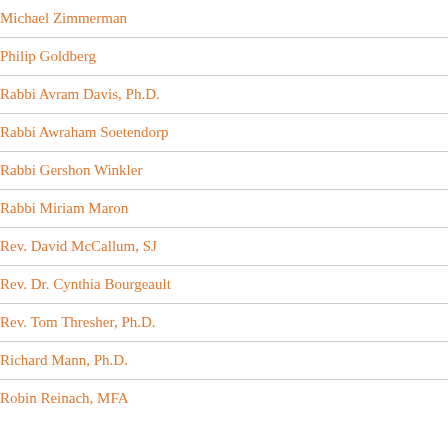Michael Zimmerman
Philip Goldberg
Rabbi Avram Davis, Ph.D.
Rabbi Awraham Soetendorp
Rabbi Gershon Winkler
Rabbi Miriam Maron
Rev. David McCallum, SJ
Rev. Dr. Cynthia Bourgeault
Rev. Tom Thresher, Ph.D.
Richard Mann, Ph.D.
Robin Reinach, MFA